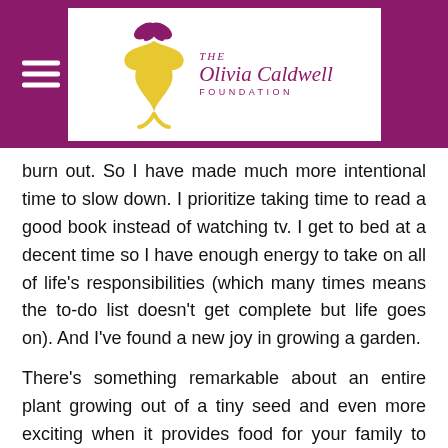[Figure (logo): The Olivia Caldwell Foundation logo with yellow ribbon and purple butterfly on white background, set in purple header bar with hamburger menu icon]
burn out.  So I have made much more intentional time to slow down.  I prioritize taking time to read a good book instead of watching tv. I get to bed at a decent time so I have enough energy to take on all of life's responsibilities (which many times means the to-do list doesn't get complete but life goes on).  And I've found a new joy in growing a garden.
There's something remarkable about an entire plant growing out of a tiny seed and even more exciting when it provides food for your family to eat.  Now, I definitely don't have a natural green thumb but I'm learning and it's been a neat experience to include my kids in.
Support Us